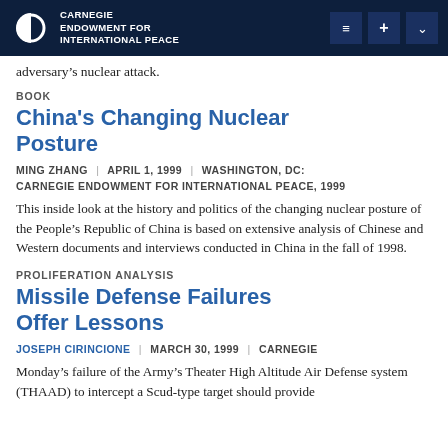CARNEGIE ENDOWMENT FOR INTERNATIONAL PEACE
adversary's nuclear attack.
BOOK
China's Changing Nuclear Posture
MING ZHANG | APRIL 1, 1999 | WASHINGTON, DC: CARNEGIE ENDOWMENT FOR INTERNATIONAL PEACE, 1999
This inside look at the history and politics of the changing nuclear posture of the People's Republic of China is based on extensive analysis of Chinese and Western documents and interviews conducted in China in the fall of 1998.
PROLIFERATION ANALYSIS
Missile Defense Failures Offer Lessons
JOSEPH CIRINCIONE | MARCH 30, 1999 | CARNEGIE
Monday's failure of the Army's Theater High Altitude Air Defense system (THAAD) to intercept a Scud-type target should provide